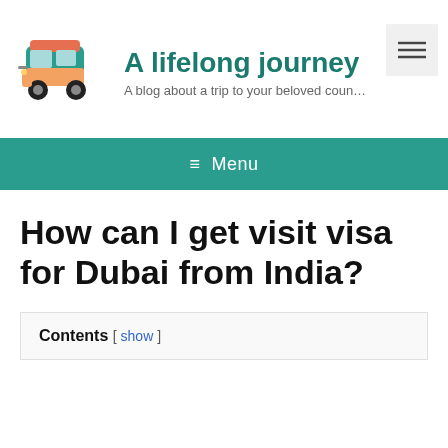[Figure (logo): Colorful auto-rickshaw (tuk-tuk) illustration used as blog logo]
A lifelong journey
A blog about a trip to your beloved coun…
[Figure (other): Hamburger menu toggle button (three horizontal lines icon)]
≡ Menu
How can I get visit visa for Dubai from India?
Contents [ show ]